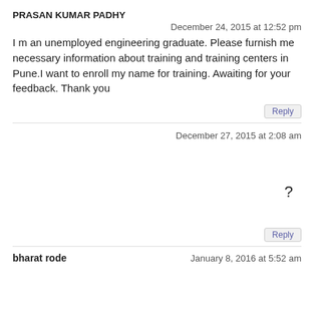PRASAN KUMAR PADHY
December 24, 2015 at 12:52 pm
I m an unemployed engineering graduate. Please furnish me necessary information about training and training centers in Pune.I want to enroll my name for training. Awaiting for your feedback. Thank you
Reply
December 27, 2015 at 2:08 am
?
Reply
bharat rode
January 8, 2016 at 5:52 am